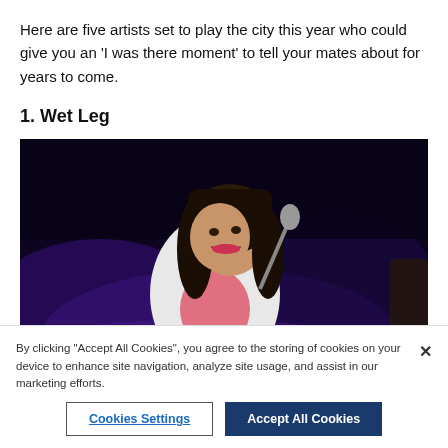Here are five artists set to play the city this year who could give you an 'I was there moment' to tell your mates about for years to come.
1. Wet Leg
[Figure (photo): A female performer with long dark hair smiling at a microphone on stage, wearing a white blazer, with purple stage lighting and a dark background.]
By clicking "Accept All Cookies", you agree to the storing of cookies on your device to enhance site navigation, analyze site usage, and assist in our marketing efforts.
Cookies Settings
Accept All Cookies